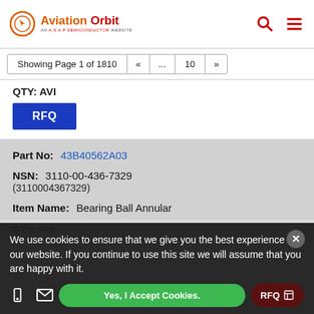Aviation Orbit — AN A.S.A.P SEMICONDUCTOR WEBSITE
Showing Page 1 of 1810  «  ...  10  »
QTY: AVI
RFQ
Part No: 43B40562A03
NSN: 3110-00-436-7329 (3110004367329)
Item Name: Bearing Ball Annular
We use cookies to ensure that we give you the best experience on our website. If you continue to use this site we will assume that you are happy with it.
Yes, I Accept Cookies.
RFQ